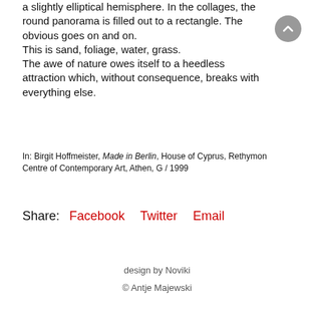a slightly elliptical hemisphere. In the collages, the round panorama is filled out to a rectangle. The obvious goes on and on.
This is sand, foliage, water, grass.
The awe of nature owes itself to a heedless attraction which, without consequence, breaks with everything else.
In: Birgit Hoffmeister, Made in Berlin, House of Cyprus, Rethymon Centre of Contemporary Art, Athen, G / 1999
Share:  Facebook   Twitter   Email
design by Noviki
© Antje Majewski